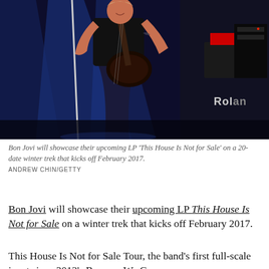[Figure (photo): Bon Jovi performer on stage playing an acoustic guitar, wearing a black sleeveless vest, with blue stage lighting and Roland amplifier visible in the background.]
Bon Jovi will showcase their upcoming LP 'This House Is Not for Sale' on a 20-date winter trek that kicks off February 2017. ANDREW CHIN/GETTY
Bon Jovi will showcase their upcoming LP This House Is Not for Sale on a winter trek that kicks off February 2017.
This House Is Not for Sale Tour, the band's first full-scale jaunt since 2013's Because We Can